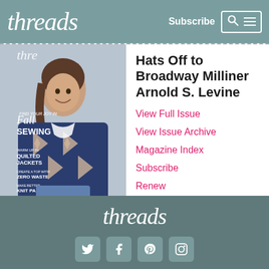threads | Subscribe
[Figure (photo): Magazine cover for Threads magazine showing a woman wearing a quilted jacket with geometric pattern. Text on cover reads: FIND YOUR JOY IN Fall SEWING, WARM UP IN QUILTED JACKETS, CREATE A TOP WITH ZERO WASTE, MAKE BETTER KNIT PANTS]
Hats Off to Broadway Milliner Arnold S. Levine
View Full Issue
View Issue Archive
Magazine Index
Subscribe
Renew
threads — with Twitter, Facebook, Pinterest, Instagram social icons